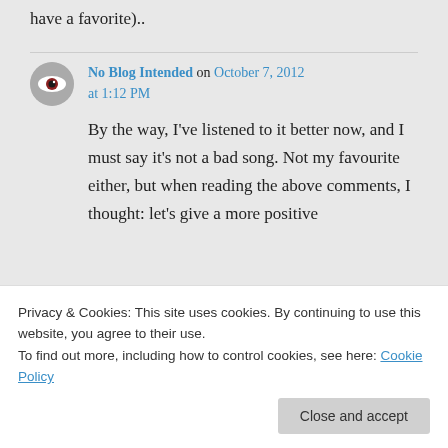have a favorite)..
No Blog Intended on October 7, 2012 at 1:12 PM
By the way, I've listened to it better now, and I must say it's not a bad song. Not my favourite either, but when reading the above comments, I thought: let's give a more positive
from me either way!
Privacy & Cookies: This site uses cookies. By continuing to use this website, you agree to their use.
To find out more, including how to control cookies, see here: Cookie Policy